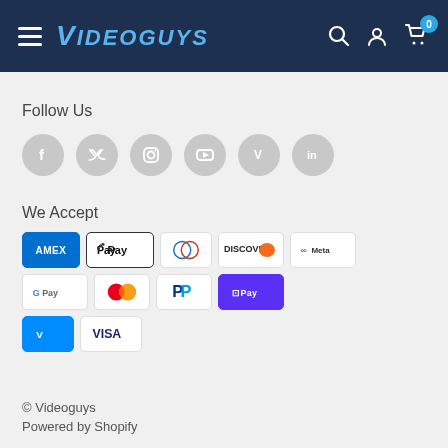Videoguys
Follow Us
[Figure (illustration): Six social media icons in gray circles: Facebook, Twitter, Instagram, YouTube, Vimeo, LinkedIn]
We Accept
[Figure (illustration): Payment method icons: AMEX, Apple Pay, Diners Club, Discover, Meta Pay, Google Pay, Mastercard, PayPal, Shop Pay, Venmo, Visa]
© Videoguys
Powered by Shopify